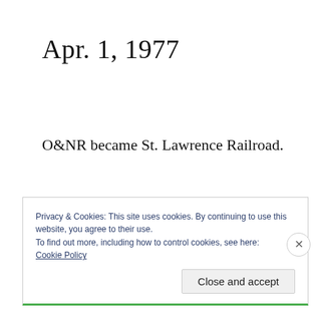Apr. 1, 1977
O&NR became St. Lawrence Railroad.
Privacy & Cookies: This site uses cookies. By continuing to use this website, you agree to their use.
To find out more, including how to control cookies, see here:
Cookie Policy
Close and accept